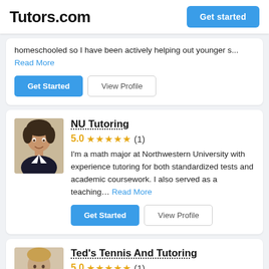Tutors.com | Get started
homeschooled so I have been actively helping out younger s... Read More
Get Started | View Profile
NU Tutoring
5.0 ★★★★★ (1)
I'm a math major at Northwestern University with experience tutoring for both standardized tests and academic coursework. I also served as a teaching... Read More
Get Started | View Profile
Ted's Tennis And Tutoring
5.0 ★★★★★ (1)